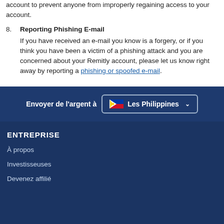account to prevent anyone from improperly regaining access to your account.
8. Reporting Phishing E-mail
If you have received an e-mail you know is a forgery, or if you think you have been a victim of a phishing attack and you are concerned about your Remitly account, please let us know right away by reporting a phishing or spoofed e-mail.
Envoyer de l'argent à Les Philippines
ENTREPRISE
À propos
Investisseuses
Devenez affilié